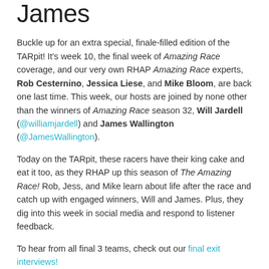James
Buckle up for an extra special, finale-filled edition of the TARpit! It's week 10, the final week of Amazing Race coverage, and our very own RHAP Amazing Race experts, Rob Cesternino, Jessica Liese, and Mike Bloom, are back one last time. This week, our hosts are joined by none other than the winners of Amazing Race season 32, Will Jardell (@williamjardell) and James Wallington (@JamesWallington).
Today on the TARpit, these racers have their king cake and eat it too, as they RHAP up this season of The Amazing Race! Rob, Jess, and Mike learn about life after the race and catch up with engaged winners, Will and James. Plus, they dig into this week in social media and respond to listener feedback.
To hear from all final 3 teams, check out our final exit interviews!